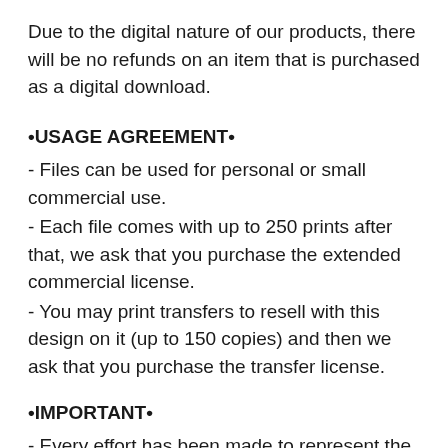Due to the digital nature of our products, there will be no refunds on an item that is purchased as a digital download.
•USAGE AGREEMENT•
- Files can be used for personal or small commercial use.
- Each file comes with up to 250 prints after that, we ask that you purchase the extended commercial license.
- You may print transfers to resell with this design on it (up to 150 copies) and then we ask that you purchase the transfer license.
•IMPORTANT•
- Every effort has been made to represent the true color